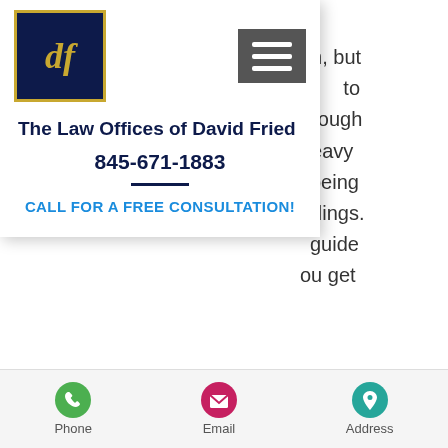[Figure (screenshot): Law firm mobile website screenshot showing navigation panel with logo, firm name, phone number, call to action, and bottom navigation bar with Phone, Email, Address icons]
The Law Offices of David Fried
845-671-1883
CALL FOR A FREE CONSULTATION!
married, you and your spouse become one. Divorce is significant because it separates the singular band and distributes the assets and liabilities to the appropriate party. If there are children involved, the divorce proceedings will handle issues related to child support, custody and visitation. Having an experienced attorney on your
Phone   Email   Address